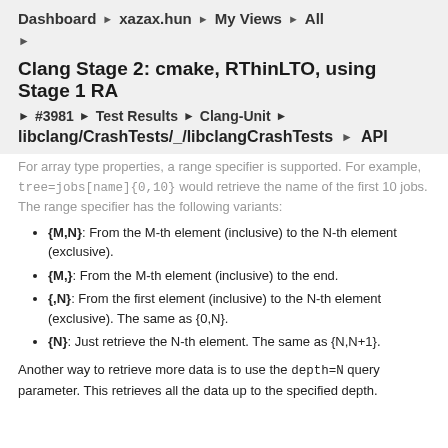Dashboard › xazax.hun › My Views › All
Clang Stage 2: cmake, RThinLTO, using Stage 1 RA
▶ #3981 › Test Results › Clang-Unit ›
libclang/CrashTests/_/libclangCrashTests › API
For array type properties, a range specifier is supported. For example, tree=jobs[name]{0,10} would retrieve the name of the first 10 jobs. The range specifier has the following variants:
{M,N}: From the M-th element (inclusive) to the N-th element (exclusive).
{M,}: From the M-th element (inclusive) to the end.
{,N}: From the first element (inclusive) to the N-th element (exclusive). The same as {0,N}.
{N}: Just retrieve the N-th element. The same as {N,N+1}.
Another way to retrieve more data is to use the depth=N query parameter. This retrieves all the data up to the specified depth.